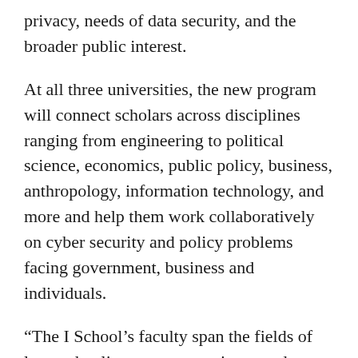privacy, needs of data security, and the broader public interest.
At all three universities, the new program will connect scholars across disciplines ranging from engineering to political science, economics, public policy, business, anthropology, information technology, and more and help them work collaboratively on cyber security and policy problems facing government, business and individuals.
“The I School’s faculty span the fields of law and policy, computer science and engineering, and the social and behavioral sciences, so we are ideally positioned to advance our thinking about the long-term future of cybersecurity,” said AnnaLee Saxenian, dean of UC Berkeley’s School of Information. “We are enthusiastic about collaborating actively with our counterparts across the Berkeley campus — from computer science, law, public policy and elsewhere — on this important